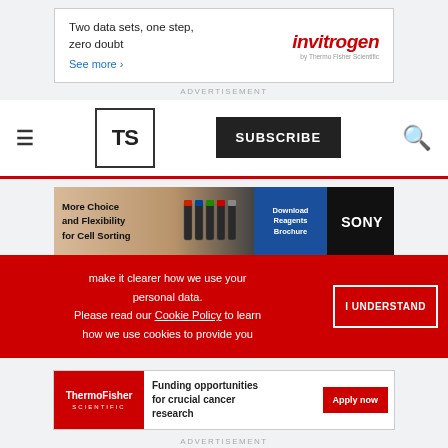[Figure (other): Invitrogen advertisement: 'Two data sets, one step, zero doubt. See more ›']
ADVERTISEMENT
[Figure (screenshot): The Scientist magazine navigation bar with TS logo, SUBSCRIBE button, and search icon]
[Figure (other): Sony advertisement: 'More Choice and Flexibility for Cell Sorting. Download Reagents Brochure. SONY']
ADVERTISEMENT
Home / Archive / March 2004 / Briefs
Turning the Obesity...
make it clearer how we use your personal data. Please read our Cookie Policy to learn how we use cookies to provide you
[Figure (other): Thermo Fisher Scientific advertisement: 'Funding opportunities for crucial cancer research. Apply now']
ADVERTISEMENT